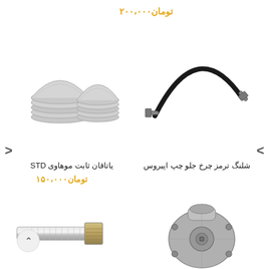تومان۲۰۰،۰۰۰
[Figure (photo): Engine bearing half-shells (set), silver metallic, semi-circular shaped parts stacked in two groups]
[Figure (photo): Brake hose for left front wheel of Opirus, curved black rubber hose with metal fittings at each end]
شلنگ ترمز چرخ جلو چپ اپیروس
یاتاقان ثابت موهاوی STD
تومان۱۵۰،۰۰۰
[Figure (photo): Chrome threaded bolt/shaft automotive part, cylindrical with hex nut]
[Figure (photo): Water pump assembly, silver/grey cast metal automotive part]